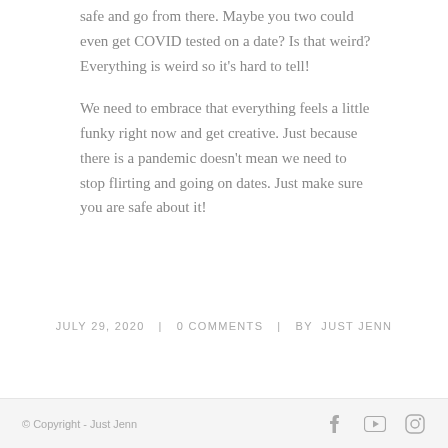safe and go from there. Maybe you two could even get COVID tested on a date? Is that weird? Everything is weird so it's hard to tell!
We need to embrace that everything feels a little funky right now and get creative. Just because there is a pandemic doesn't mean we need to stop flirting and going on dates. Just make sure you are safe about it!
JULY 29, 2020  0 COMMENTS  BY  JUST JENN
© Copyright - Just Jenn